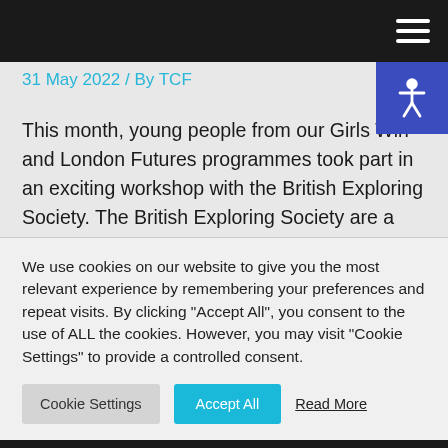31 May 2022 / By TCF
This month, young people from our Girls Win and London Futures programmes took part in an exciting workshop with the British Exploring Society. The British Exploring Society are a youth development charity providing life changing expeditions that equip young people with the
We use cookies on our website to give you the most relevant experience by remembering your preferences and repeat visits. By clicking "Accept All", you consent to the use of ALL the cookies. However, you may visit "Cookie Settings" to provide a controlled consent.